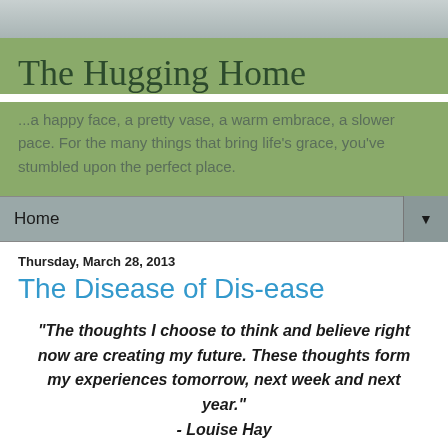[Figure (photo): Gray/blue-toned photo banner at top of page (partial view of background image)]
The Hugging Home
...a happy face, a pretty vase, a warm embrace, a slower pace. For the many things that bring life's grace, you've stumbled upon the perfect place.
Home ▼
Thursday, March 28, 2013
The Disease of Dis-ease
"The thoughts I choose to think and believe right now are creating my future. These thoughts form my experiences tomorrow, next week and next year." - Louise Hay